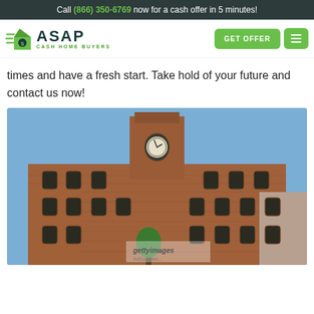Call (866) 350-6769 now for a cash offer in 5 minutes!
[Figure (logo): ASAP Cash Home Buyers logo with green house icon and speed lines]
times and have a fresh start. Take hold of your future and contact us now!
[Figure (photo): Exterior photo of a large historic brick building with a clock tower, blue sky background, Getty Images watermark]